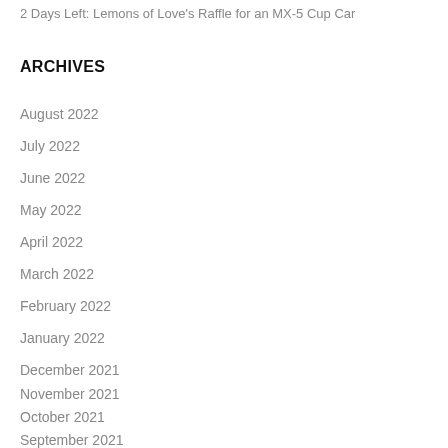2 Days Left: Lemons of Love's Raffle for an MX-5 Cup Car
ARCHIVES
August 2022
July 2022
June 2022
May 2022
April 2022
March 2022
February 2022
January 2022
December 2021
November 2021
October 2021
September 2021
August 2021
July 2021